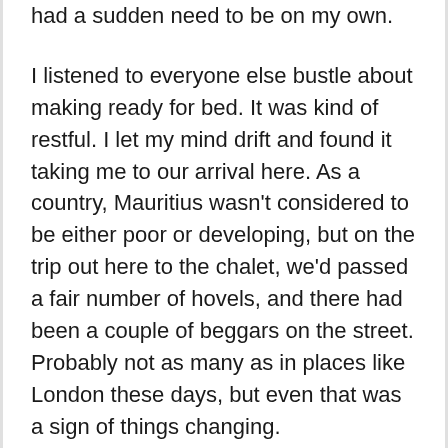had a sudden need to be on my own.
I listened to everyone else bustle about making ready for bed. It was kind of restful. I let my mind drift and found it taking me to our arrival here. As a country, Mauritius wasn't considered to be either poor or developing, but on the trip out here to the chalet, we'd passed a fair number of hovels, and there had been a couple of beggars on the street. Probably not as many as in places like London these days, but even that was a sign of things changing.
Those people didn't have representation in the debate going on in my mind even though they were probably the most affected. Among the